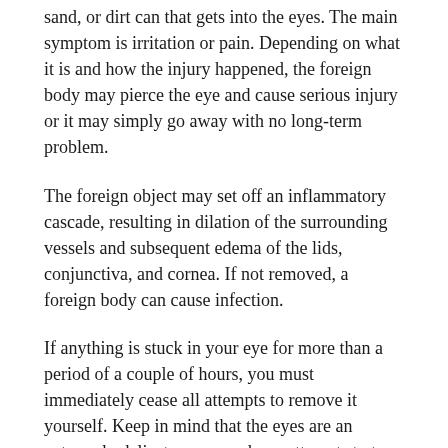sand, or dirt can that gets into the eyes. The main symptom is irritation or pain. Depending on what it is and how the injury happened, the foreign body may pierce the eye and cause serious injury or it may simply go away with no long-term problem.
The foreign object may set off an inflammatory cascade, resulting in dilation of the surrounding vessels and subsequent edema of the lids, conjunctiva, and cornea. If not removed, a foreign body can cause infection.
If anything is stuck in your eye for more than a period of a couple of hours, you must immediately cease all attempts to remove it yourself. Keep in mind that the eyes are an extremely delicate organ and any attempts to try anything extraordinary with them can only have negative and adverse results. If the foreign body you are talking about is not bothering you too much, then you are advised to visit an eye doctor to take care of it. If not you may need to call